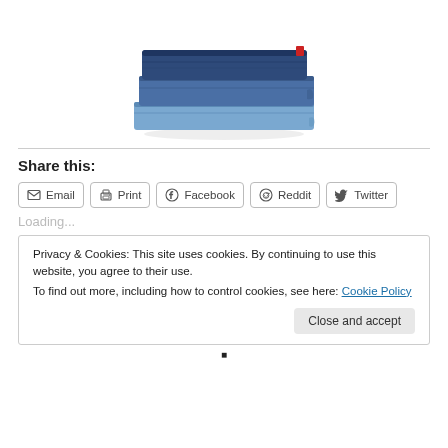[Figure (photo): A stack of folded blue denim jeans photographed on a white background]
Share this:
Email  Print  Facebook  Reddit  Twitter
Loading...
Privacy & Cookies: This site uses cookies. By continuing to use this website, you agree to their use.
To find out more, including how to control cookies, see here: Cookie Policy
Close and accept